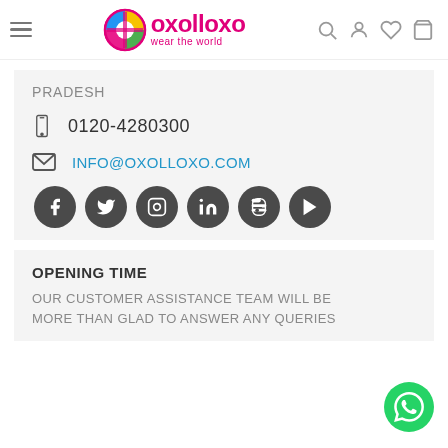oxolloxo - wear the world
PRADESH
0120-4280300
INFO@OXOLLOXO.COM
[Figure (infographic): Social media icons: Facebook, Twitter, Instagram, LinkedIn, Blogger, YouTube]
OPENING TIME
OUR CUSTOMER ASSISTANCE TEAM WILL BE MORE THAN GLAD TO ANSWER ANY QUERIES
[Figure (infographic): WhatsApp green chat button]